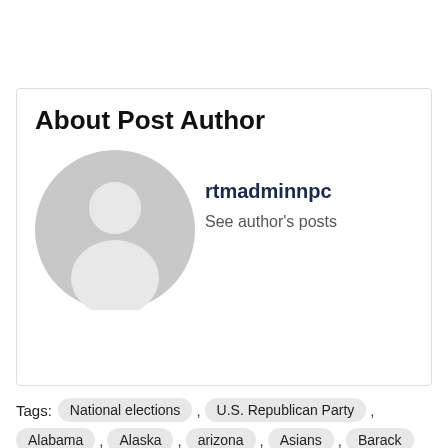About Post Author
[Figure (illustration): Default grey avatar/profile placeholder image showing a generic person silhouette]
rtmadminnpc
See author's posts
Tags: National elections , U.S. Republican Party , Alabama , Alaska , arizona , Asians , Barack Obama , ...